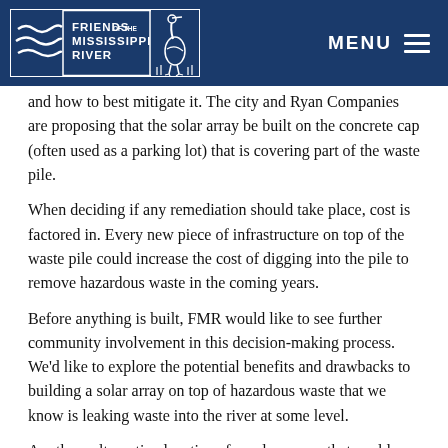Friends of the Mississippi River | MENU
and how to best mitigate it. The city and Ryan Companies are proposing that the solar array be built on the concrete cap (often used as a parking lot) that is covering part of the waste pile.
When deciding if any remediation should take place, cost is factored in. Every new piece of infrastructure on top of the waste pile could increase the cost of digging into the pile to remove hazardous waste in the coming years.
Before anything is built, FMR would like to see further community involvement in this decision-making process. We'd like to explore the potential benefits and drawbacks to building a solar array on top of hazardous waste that we know is leaking waste into the river at some level.
Are there alternative locations for solar power that could serve the redevelopment site without complicating any future cleanup